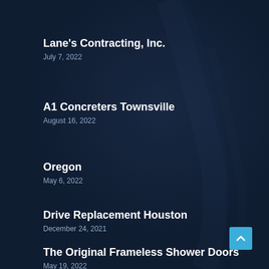Lane's Contracting, Inc.
July 7, 2022
A1 Concreters Townsville
August 16, 2022
Oregon
May 6, 2022
Drive Replacement Houston
December 24, 2021
The Original Frameless Shower Doors
May 19, 2022